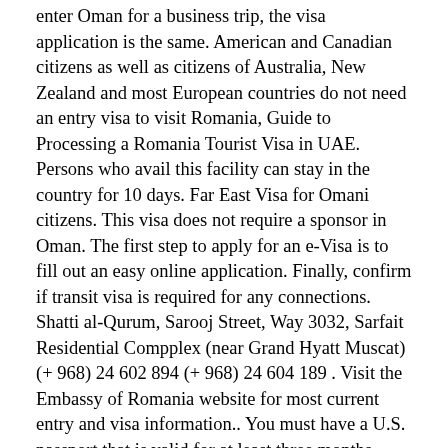enter Oman for a business trip, the visa application is the same. American and Canadian citizens as well as citizens of Australia, New Zealand and most European countries do not need an entry visa to visit Romania, Guide to Processing a Romania Tourist Visa in UAE. Persons who avail this facility can stay in the country for 10 days. Far East Visa for Omani citizens. This visa does not require a sponsor in Oman. The first step to apply for an e-Visa is to fill out an easy online application. Finally, confirm if transit visa is required for any connections. Shatti al-Qurum, Sarooj Street, Way 3032, Sarfait Residential Compplex (near Grand Hyatt Muscat) (+ 968) 24 602 894 (+ 968) 24 604 189 . Visit the Embassy of Romania website for most current entry and visa information.. You must have a U.S. passport that is valid for at least three months beyond your departure date from Romania. This decision has been taken to revive the grim tourism and economic scene of the Sultanate. When applying for an electronic Oman tourist visa, you need a valid passport and your passport must be valid at least 6 months upon arrival in Oman